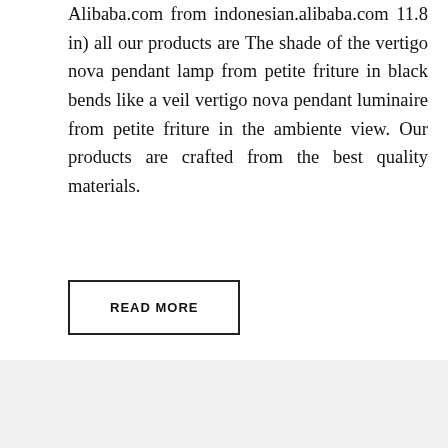Alibaba.com from indonesian.alibaba.com 11.8 in) all our products are The shade of the vertigo nova pendant lamp from petite friture in black bends like a veil vertigo nova pendant luminaire from petite friture in the ambiente view. Our products are crafted from the best quality materials.
READ MORE
pendantlighting
lamp, shade, vertigo
Leave a comment